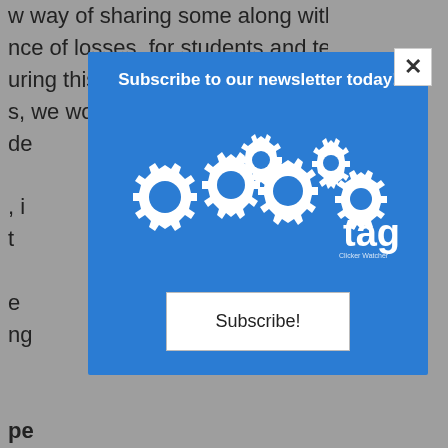w way of sharing some along with an nce of losses, for students and teachers uring this devastating time, we miss our s, we worry about our students, we love de i t e ng pe a l ional Supervision and Administration and ss Administration. She is in her 13th year lementary educator and specializes in
[Figure (screenshot): Newsletter subscription modal popup with blue background showing gears/cog logo with 'tag!' text, a headline 'Subscribe to our newsletter today!', a white 'Subscribe!' button, and an X close button in the top right corner.]